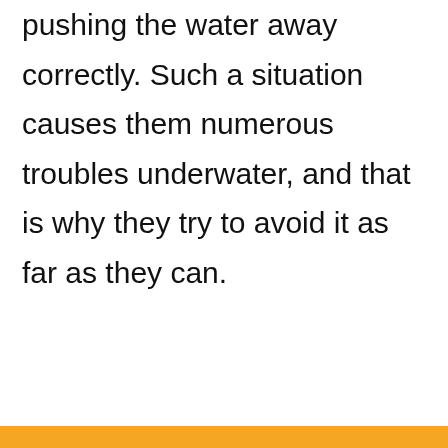pushing the water away correctly. Such a situation causes them numerous troubles underwater, and that is why they try to avoid it as far as they can.
[Figure (infographic): Interactive UI card area with a heart (favorite) button in orange circle, a share button with icon, a 'What's Next' recommendation bar showing 'Can Squirrel Eat Grapes?' with a squirrel photo, and an orange footer strip.]